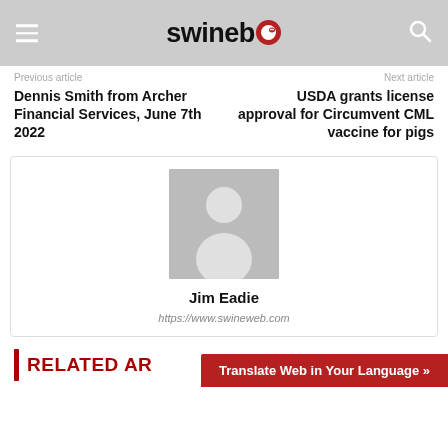swineweb
Previous article
Next article
Dennis Smith from Archer Financial Services, June 7th 2022
USDA grants license approval for Circumvent CML vaccine for pigs
[Figure (illustration): Generic user avatar placeholder — gray rectangle with white silhouette of a person (head and shoulders)]
Jim Eadie
https://www.swineweb.com
RELATED AR…
Translate Web in Your Language »